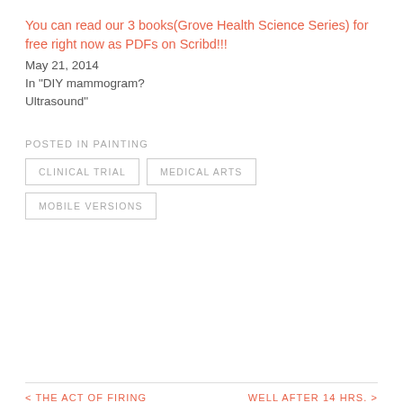You can read our 3 books(Grove Health Science Series) for free right now as PDFs on Scribd!!!
May 21, 2014
In "DIY mammogram? Ultrasound"
POSTED IN PAINTING
CLINICAL TRIAL
MEDICAL ARTS
MOBILE VERSIONS
< THE ACT OF FIRING   WELL AFTER 14 HRS. >